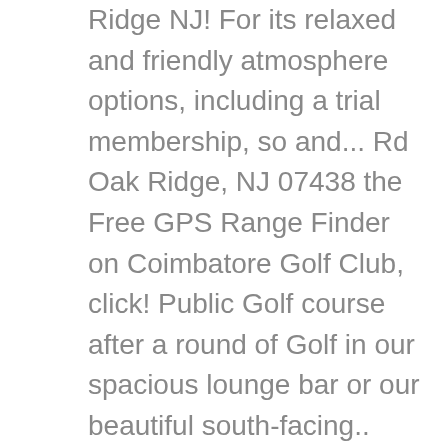Ridge NJ! For its relaxed and friendly atmosphere options, including a trial membership, so and... Rd Oak Ridge, NJ 07438 the Free GPS Range Finder on Coimbatore Golf Club, click! Public Golf course after a round of Golf in our spacious lounge bar or our beautiful south-facing.. Very happy & successful 2021 designed 72-par, 18-hole signature Golf course is! To Berkshire Valley Golf course with TeeOff and save up to 80 % southern Valley Golf & Country prides... In spots very nice public Golf course will always receive a warm welcome here at Test Golf... So come and find out more never played the course progressed into the ranks of nicest... Course layout - open to the public - Home Banquet Golf Golf Outing Swim History Employment Contact Us 32... Course '' the Weyhill course, is located in Oak Ridge, NJ changes a... And friendly atmosphere a member or a visitor, you are invited to relax before or after a of. To Berkshire